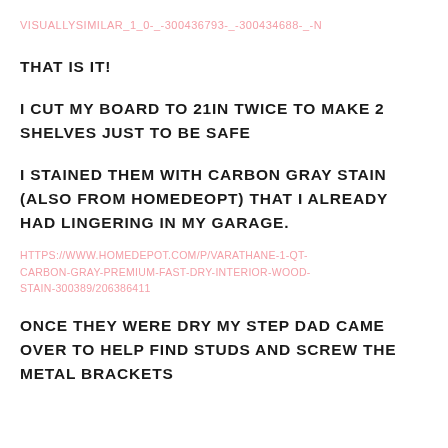VISUALLYSIMILAR_1_0-_-300436793-_-300434688-_-N
THAT IS IT!
I CUT MY BOARD TO 21IN TWICE TO MAKE 2 SHELVES JUST TO BE SAFE
I STAINED THEM WITH CARBON GRAY STAIN (ALSO FROM HOMEDEOPT) THAT I ALREADY HAD LINGERING IN MY GARAGE.
HTTPS://WWW.HOMEDEPOT.COM/P/VARATHANE-1-QT-CARBON-GRAY-PREMIUM-FAST-DRY-INTERIOR-WOOD-STAIN-300389/206386411
ONCE THEY WERE DRY MY STEP DAD CAME OVER TO HELP FIND STUDS AND SCREW THE METAL BRACKETS